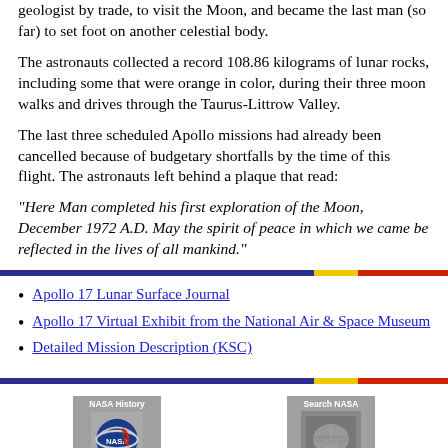geologist by trade, to visit the Moon, and became the last man (so far) to set foot on another celestial body.
The astronauts collected a record 108.86 kilograms of lunar rocks, including some that were orange in color, during their three moon walks and drives through the Taurus-Littrow Valley.
The last three scheduled Apollo missions had already been cancelled because of budgetary shortfalls by the time of this flight. The astronauts left behind a plaque that read:
"Here Man completed his first exploration of the Moon, December 1972 A.D. May the spirit of peace in which we came be reflected in the lives of all mankind."
Apollo 17 Lunar Surface Journal
Apollo 17 Virtual Exhibit from the National Air & Space Museum
Detailed Mission Description (KSC)
[Figure (logo): NASA History button with NASA logo (blue circle with NASA meatball logo)]
[Figure (photo): Search NASA button with a grayscale photo of an astronaut footprint on the Moon]